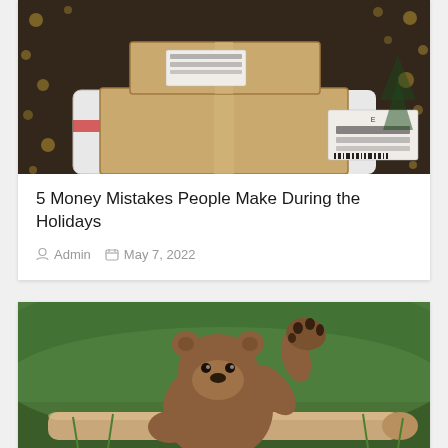[Figure (photo): Person in Christmas sweater holding stacked cardboard delivery boxes, with bokeh string lights in background]
5 Money Mistakes People Make During the Holidays
Admin   May 7, 2022
[Figure (photo): Brown bear cub sitting upright against a log with one paw raised, green grassy hillside background]